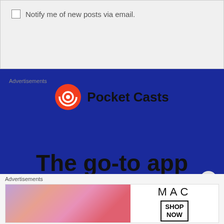Notify me of new posts via email.
Advertisements
[Figure (logo): Pocket Casts logo with red spiral icon and bold text 'Pocket Casts']
The go-to app for podcast lovers.
Download now
Advertisements
[Figure (photo): MAC cosmetics advertisement showing colorful lipsticks with MAC logo and 'SHOP NOW' text]